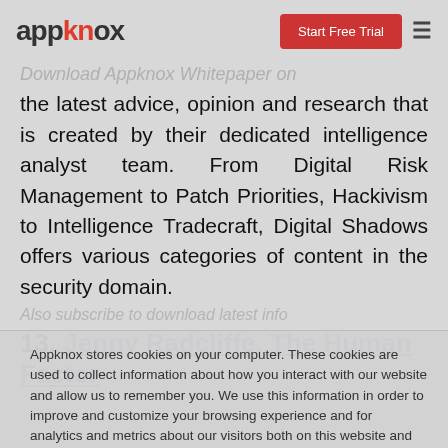appknox — Start Free Trial ☰
Download Appknox Whitepaper on
the latest advice, opinion and research that is created by their dedicated intelligence analyst team. From Digital Risk Management to Patch Priorities, Hackivism to Intelligence Tradecraft, Digital Shadows offers various categories of content in the security domain.
Also subscribe to download latest info
13. Jenny Radcliffe, The Human Factor
Appknox stores cookies on your computer. These cookies are used to collect information about how you interact with our website and allow us to remember you. We use this information in order to improve and customize your browsing experience and for analytics and metrics about our visitors both on this website and other media. To find out more about the cookies we use, see our Privacy Policy.
Accept